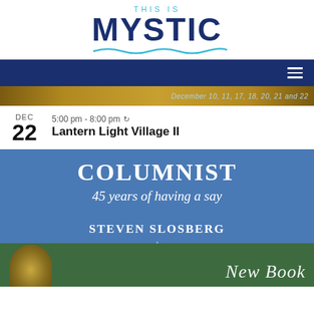[Figure (logo): THIS IS MYSTIC logo with wave underline]
[Figure (screenshot): Dark navy navigation bar with hamburger menu icon on the right]
[Figure (photo): Partial banner image with golden bokeh lights and text: December 10, 11, 17, 18, 20, 21 and 22]
5:00 pm - 8:00 pm
Lantern Light Village II
[Figure (illustration): Book advertisement banner: COLUMNIST 45 years of having a say by STEVEN SLOSBERG, blue background with green bottom strip showing author photo and 'New Book' text]